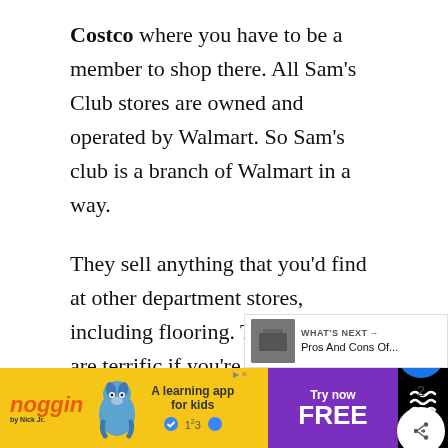Costco where you have to be a member to shop there. All Sam's Club stores are owned and operated by Walmart. So Sam's club is a branch of Walmart in a way.
They sell anything that you'd find at other department stores, including flooring. Their prices are terrific if you're a Sam's Club member, with flooring starting under $1 per square foot, making it easy to finish your entire house.
[Figure (screenshot): UI overlay elements: a blue heart/like button, share button with count of 2, and a 'What's Next' widget showing 'Pros And Cons Of...']
[Figure (screenshot): Noggin by Nick Jr. advertisement banner: yellow background with Blue's Clues dog, 'A learning app for kids', 'Try now FREE' call to action on purple background]